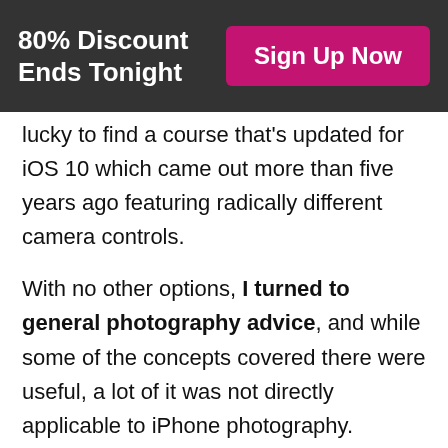80% Discount Ends Tonight | Sign Up Now
lucky to find a course that's updated for iOS 10 which came out more than five years ago featuring radically different camera controls.
With no other options, I turned to general photography advice, and while some of the concepts covered there were useful, a lot of it was not directly applicable to iPhone photography.
Finally, I realized that the only way to get as good as my favorite iPhone photographers was to learn from them directly and to understand what it is that makes their photos so special...